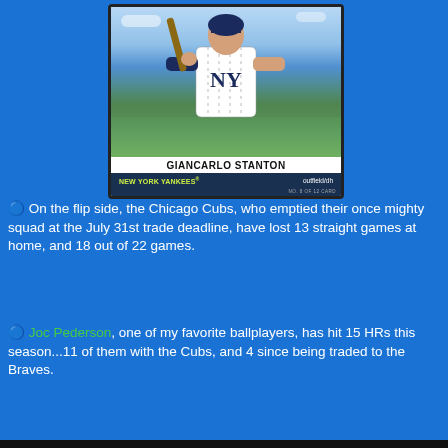[Figure (photo): A baseball trading card showing Giancarlo Stanton in a New York Yankees pinstripe uniform holding a bat. The card reads 'GIANCARLO STANTON', 'NEW YORK YANKEES® outfield/dh', 'NO. 8 OF 12 CARD']
🔵 On the flip side, the Chicago Cubs, who emptied their once mighty squad at the July 31st trade deadline, have lost 13 straight games at home, and 18 out of 22 games.
🔵 Joc Pederson, one of my favorite ballplayers, has hit 15 HRs this season...11 of them with the Cubs, and 4 since being traded to the Braves.